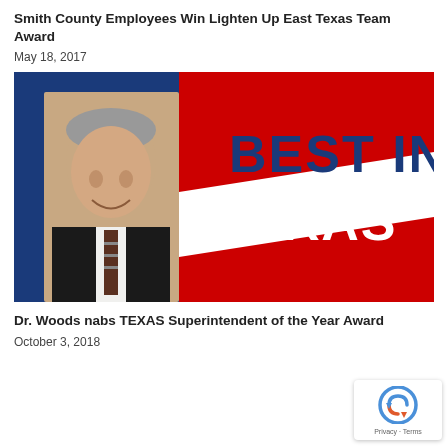Smith County Employees Win Lighten Up East Texas Team Award
May 18, 2017
[Figure (photo): A man in a dark suit and striped tie smiling in front of a Texas flag backdrop with text reading BEST IN TEXAS]
Dr. Woods nabs TEXAS Superintendent of the Year Award
October 3, 2018